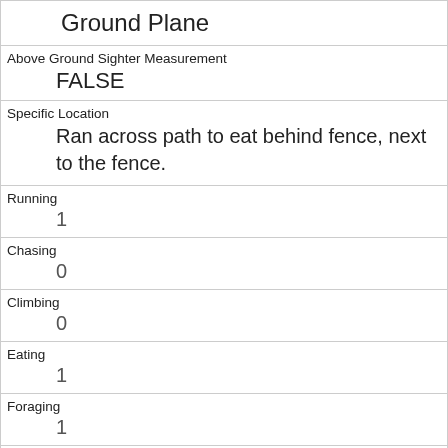| Ground Plane |
| Above Ground Sighter Measurement
FALSE |
| Specific Location
Ran across path to eat behind fence, next to the fence. |
| Running
1 |
| Chasing
0 |
| Climbing
0 |
| Eating
1 |
| Foraging
1 |
| Other Activities
 |
| Kuks
0 |